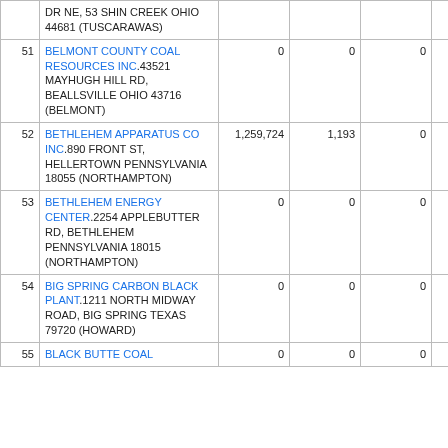| # | Name/Address | Col1 | Col2 | Col3 | Col4 |
| --- | --- | --- | --- | --- | --- |
|  | DR NE, 53 SHIN CREEK OHIO 44681 (TUSCARAWAS) |  |  |  |  |
| 51 | BELMONT COUNTY COAL RESOURCES INC.43521 MAYHUGH HILL RD, BEALLSVILLE OHIO 43716 (BELMONT) | 0 | 0 | 0 | 0 |
| 52 | BETHLEHEM APPARATUS CO INC.890 FRONT ST, HELLERTOWN PENNSYLVANIA 18055 (NORTHAMPTON) | 1,259,724 | 1,193 | 0 | 0 |
| 53 | BETHLEHEM ENERGY CENTER.2254 APPLEBUTTER RD, BETHLEHEM PENNSYLVANIA 18015 (NORTHAMPTON) | 0 | 0 | 0 | 0 |
| 54 | BIG SPRING CARBON BLACK PLANT.1211 NORTH MIDWAY ROAD, BIG SPRING TEXAS 79720 (HOWARD) | 0 | 0 | 0 | 0 |
| 55 | BLACK BUTTE COAL | 0 | 0 | 0 | 0 |